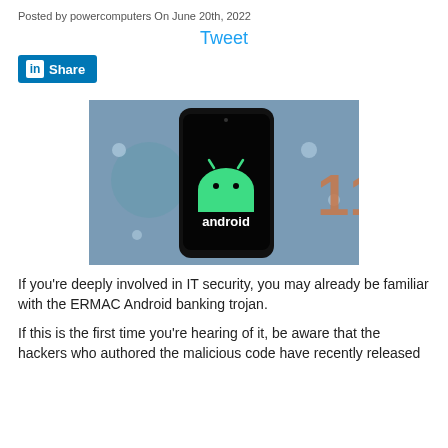Posted by powercomputers On June 20th, 2022
Tweet
Share
[Figure (photo): Android smartphone displaying the Android logo (green robot mascot) on a black screen, with a blurred background showing a green circle and orange '11' text, suggesting Android 11.]
If you're deeply involved in IT security, you may already be familiar with the ERMAC Android banking trojan.
If this is the first time you're hearing of it, be aware that the hackers who authored the malicious code have recently released